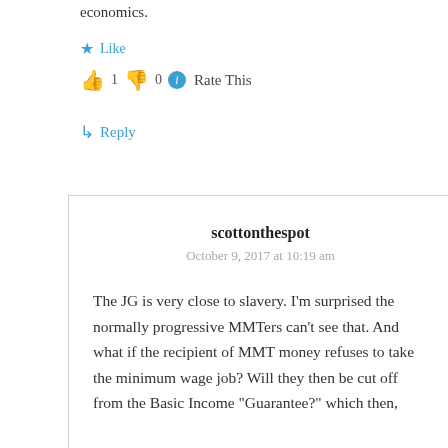economics.
★ Like
👍 1  👎 0  ℹ Rate This
↳ Reply
scottonthespot
October 9, 2017 at 10:19 am
The JG is very close to slavery. I'm surprised the normally progressive MMTers can't see that. And what if the recipient of MMT money refuses to take the minimum wage job? Will they then be cut off from the Basic Income "Guarantee?" which then,